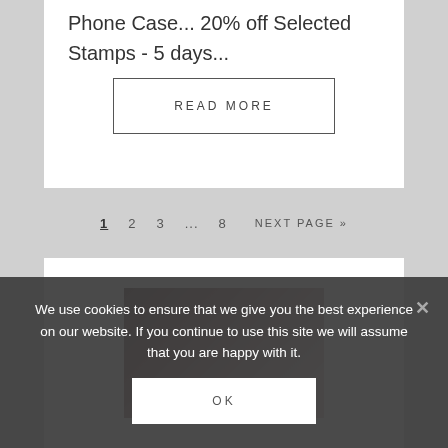Phone Case... 20% off Selected Stamps - 5 days...
READ MORE
1  2  3  ...  8  NEXT PAGE »
[Figure (photo): Blurred dark background with bokeh light circles, resembling a close-up of a surface with out-of-focus lights]
We use cookies to ensure that we give you the best experience on our website. If you continue to use this site we will assume that you are happy with it.
OK